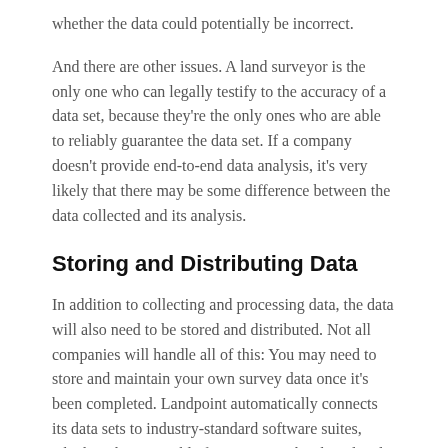whether the data could potentially be incorrect.
And there are other issues. A land surveyor is the only one who can legally testify to the accuracy of a data set, because they're the only ones who are able to reliably guarantee the data set. If a company doesn't provide end-to-end data analysis, it's very likely that there may be some difference between the data collected and its analysis.
Storing and Distributing Data
In addition to collecting and processing data, the data will also need to be stored and distributed. Not all companies will handle all of this: You may need to store and maintain your own survey data once it's been completed. Landpoint automatically connects its data sets to industry-standard software suites, which make it possible for surveys to be shared and accessed from anywhere. This solution prevents data from being damaged or overwritten, while still letting companies leverage them to the fullest extent.
When it comes to terrestrial laser scanning, there are two